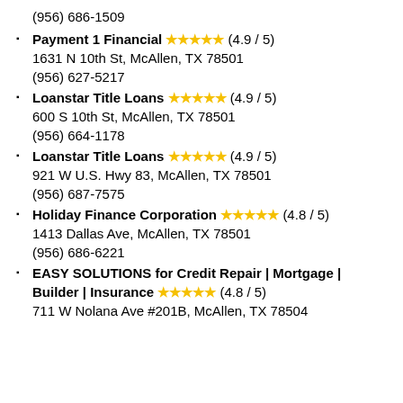(956) 686-1509
Payment 1 Financial ★★★★★ (4.9 / 5)
1631 N 10th St, McAllen, TX 78501
(956) 627-5217
Loanstar Title Loans ★★★★★ (4.9 / 5)
600 S 10th St, McAllen, TX 78501
(956) 664-1178
Loanstar Title Loans ★★★★★ (4.9 / 5)
921 W U.S. Hwy 83, McAllen, TX 78501
(956) 687-7575
Holiday Finance Corporation ★★★★★ (4.8 / 5)
1413 Dallas Ave, McAllen, TX 78501
(956) 686-6221
EASY SOLUTIONS for Credit Repair | Mortgage | Builder | Insurance ★★★★★ (4.8 / 5)
711 W Nolana Ave #201B, McAllen, TX 78504